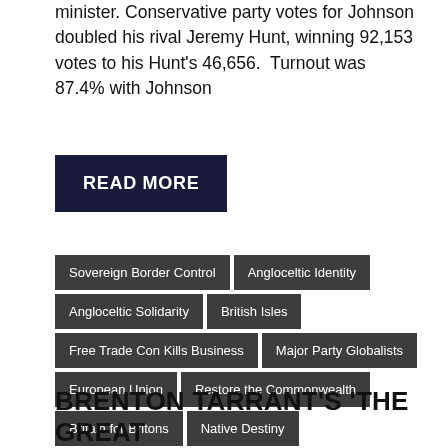minister. Conservative party votes for Johnson doubled his rival Jeremy Hunt, winning 92,153 votes to his Hunt's 46,656.  Turnout was 87.4% with Johnson
READ MORE
Sovereign Border Control
Angloceltic Identity
Angloceltic Solidarity
British Isles
Free Trade Con Kills Business
Major Party Globalists
European Union
Restore the Commonwealth
Britain for Britons
Native Destiny
Global Leadership
BRENTON TARRANT'S 'THE GREAT